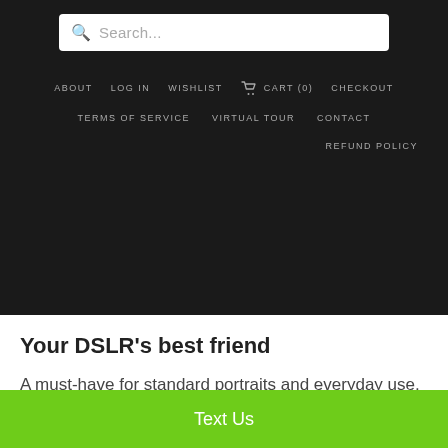Search...
ABOUT   LOG IN   WISHLIST   CART (0)   CHECKOUT
TERMS OF SERVICE   VIRTUAL TOUR   CONTACT
REFUND POLICY
Your DSLR's best friend
A must-have for standard portraits and everyday use, the AF-S NIKKOR 50mm f/1.8G is a lens that will absolutely surprise you. The 50mm focal length (75mm equivalent on DX format cameras) with a fast f/1.8 aperture
Text Us